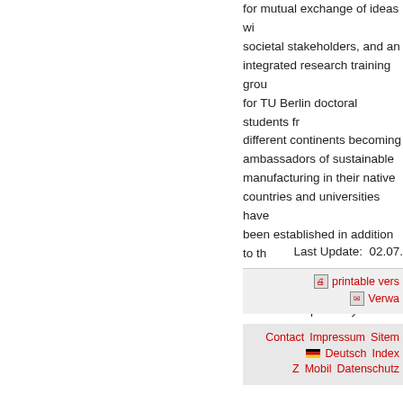for mutual exchange of ideas with societal stakeholders, and an integrated research training group for TU Berlin doctoral students from different continents becoming ambassadors of sustainable manufacturing in their native countries and universities have been established in addition to the project areas with their own field of research respectively.
Last Update:  02.07.
printable vers
Verwa
Contact   Impressum   Sitem
Deutsch  Index
Z   Mobil   Datenschutz